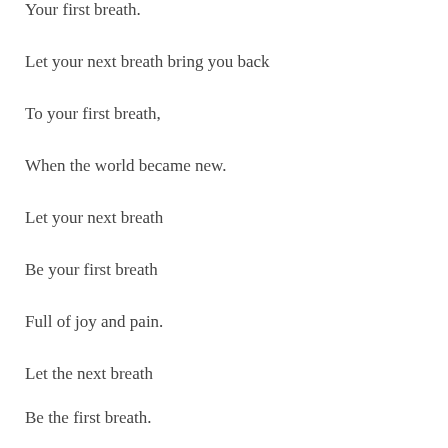Your first breath.
Let your next breath bring you back
To your first breath,
When the world became new.
Let your next breath
Be your first breath
Full of joy and pain.
Let the next breath
Be the first breath.
Let it change with you.